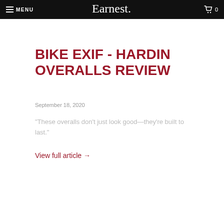MENU  Earnest.  0
BIKE EXIF - HARDIN OVERALLS REVIEW
September 18, 2020
"These overalls don't just look good—they're built to last."
View full article →